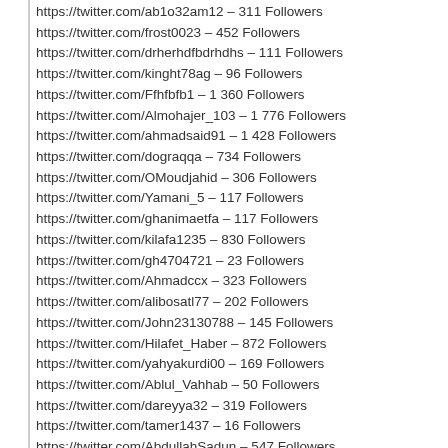https://twitter.com/ab1o32am12 – 311 Followers
https://twitter.com/frost0023 – 452 Followers
https://twitter.com/drherhdfbdrhdhs – 111 Followers
https://twitter.com/kinght78ag – 96 Followers
https://twitter.com/Ffhfbfb1 – 1 360 Followers
https://twitter.com/Almohajer_103 – 1 776 Followers
https://twitter.com/ahmadsaid91 – 1 428 Followers
https://twitter.com/dograqqa – 734 Followers
https://twitter.com/OMoudjahid – 306 Followers
https://twitter.com/Yamani_5 – 117 Followers
https://twitter.com/ghanimaetfa – 117 Followers
https://twitter.com/kilafa1235 – 830 Followers
https://twitter.com/gh4704721 – 23 Followers
https://twitter.com/Ahmadccx – 323 Followers
https://twitter.com/alibosatl77 – 202 Followers
https://twitter.com/John23130788 – 145 Followers
https://twitter.com/Hilafet_Haber – 872 Followers
https://twitter.com/yahyakurdi00 – 169 Followers
https://twitter.com/Ablul_Vahhab – 50 Followers
https://twitter.com/dareyya32 – 319 Followers
https://twitter.com/tamer1437 – 16 Followers
https://twitter.com/AbdullahSadun – 547 Followers
https://twitter.com/MastafaMrafa – 255 Followers
https://twitter.com/LeysEbu – 457 Followers
https://twitter.com/taqaddem – 218 Followers
https://twitter.com/ok____11 – 324 Followers
https://twitter.com/abd_zyaad – 244 Followers